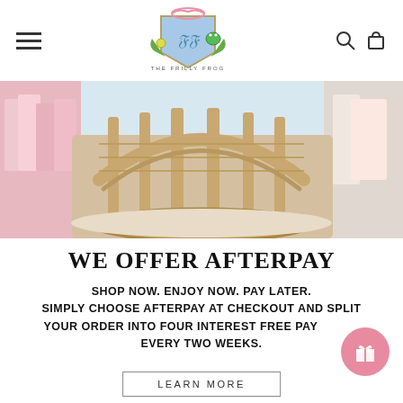The Frilly Frog - navigation header with hamburger menu, logo, search and cart icons
[Figure (photo): Hero image showing a rattan/wicker rocking chair in a children's clothing store with pink garments visible on left and soft furnishings on right]
WE OFFER AFTERPAY
SHOP NOW. ENJOY NOW. PAY LATER. SIMPLY CHOOSE AFTERPAY AT CHECKOUT AND SPLIT YOUR ORDER INTO FOUR INTEREST FREE PAYMENTS EVERY TWO WEEKS.
LEARN MORE